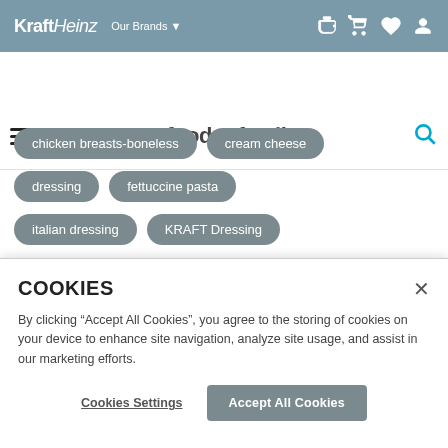KraftHeinz Our Brands ▼
[Figure (logo): my food and family logo with hamburger menu and search icon]
chicken breasts-boneless
cream cheese
dressing
fettuccine pasta
italian dressing
KRAFT Dressing
COOKIES
By clicking "Accept All Cookies", you agree to the storing of cookies on your device to enhance site navigation, analyze site usage, and assist in our marketing efforts.
Cookies Settings   Accept All Cookies